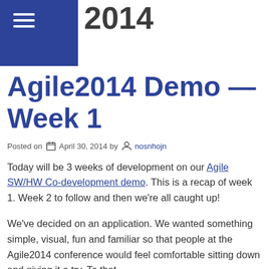2014
Agile2014 Demo — Week 1
Posted on April 30, 2014 by nosnhojn
Today will be 3 weeks of development on our Agile SW/HW Co-development demo. This is a recap of week 1. Week 2 to follow and then we're all caught up!
We've decided on an application. We wanted something simple, visual, fun and familiar so that people at the Agile2014 conference would feel comfortable sitting down and giving it a try. To that